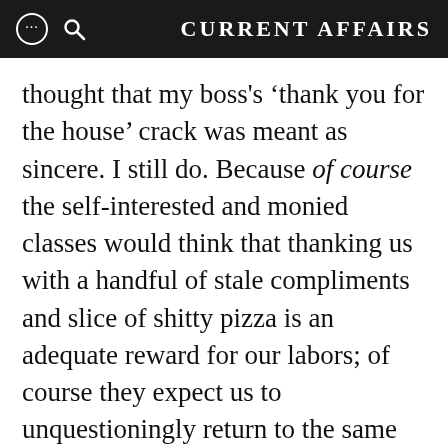CURRENT AFFAIRS
thought that my boss's ‘thank you for the house’ crack was meant as sincere. I still do. Because of course the self-interested and monied classes would think that thanking us with a handful of stale compliments and slice of shitty pizza is an adequate reward for our labors; of course they expect us to unquestioningly return to the same conditions that lead us here; of course they would casually dismiss any questioning of the status quo, any critique of their modes of operation because the most we can ever muster in response is a “that’s fucked up” muttered under our breath to a